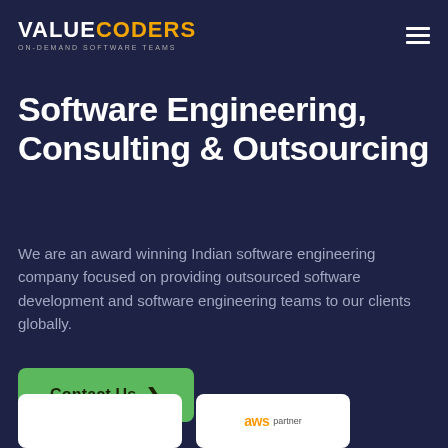[Figure (logo): ValueCoders logo — 'VALUE' in white bold, 'CODERS' in orange bold, tagline 'ON-DEMAND SOFTWARE TEAMS' in small grey letters below]
Software Engineering, Consulting & Outsourcing
We are an award winning Indian software engineering company focused on providing outsourced software development and software engineering teams to our clients globally.
Contact Us →
[Figure (logo): AWS Partner badge — white rounded rectangle with 'aws' in dark text and orange arc, 'partner' in small text]
[Figure (logo): Partially visible white badge at bottom left]